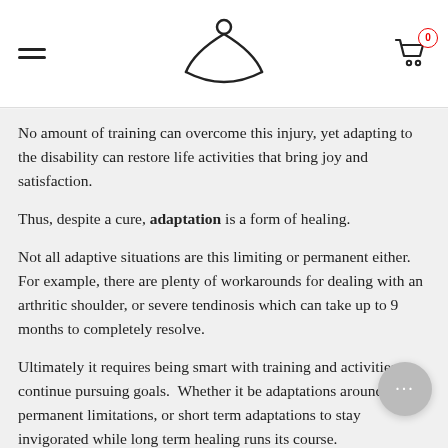Navigation header with hamburger menu, logo, and shopping cart (0 items)
No amount of training can overcome this injury, yet adapting to the disability can restore life activities that bring joy and satisfaction.
Thus, despite a cure, adaptation is a form of healing.
Not all adaptive situations are this limiting or permanent either. For example, there are plenty of workarounds for dealing with an arthritic shoulder, or severe tendinosis which can take up to 9 months to completely resolve.
Ultimately it requires being smart with training and activities to continue pursuing goals.  Whether it be adaptations around permanent limitations, or short term adaptations to stay invigorated while long term healing runs its course.
For example, it's very possible to be strong, athletic, and look great naked without doing squat snatches or